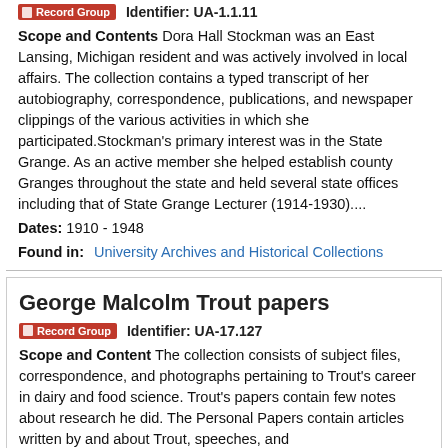Record Group   Identifier: UA-1.1.11
Scope and Contents Dora Hall Stockman was an East Lansing, Michigan resident and was actively involved in local affairs. The collection contains a typed transcript of her autobiography, correspondence, publications, and newspaper clippings of the various activities in which she participated.Stockman's primary interest was in the State Grange. As an active member she helped establish county Granges throughout the state and held several state offices including that of State Grange Lecturer (1914-1930)....
Dates: 1910 - 1948
Found in:   University Archives and Historical Collections
George Malcolm Trout papers
Record Group   Identifier: UA-17.127
Scope and Content The collection consists of subject files, correspondence, and photographs pertaining to Trout's career in dairy and food science. Trout's papers contain few notes about research he did. The Personal Papers contain articles written by and about Trout, speeches, and